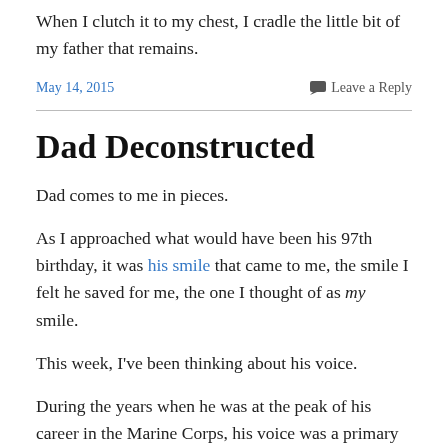When I clutch it to my chest, I cradle the little bit of my father that remains.
May 14, 2015   Leave a Reply
Dad Deconstructed
Dad comes to me in pieces.
As I approached what would have been his 97th birthday, it was his smile that came to me, the smile I felt he saved for me, the one I thought of as my smile.
This week, I've been thinking about his voice.
During the years when he was at the peak of his career in the Marine Corps, his voice was a primary instrument of